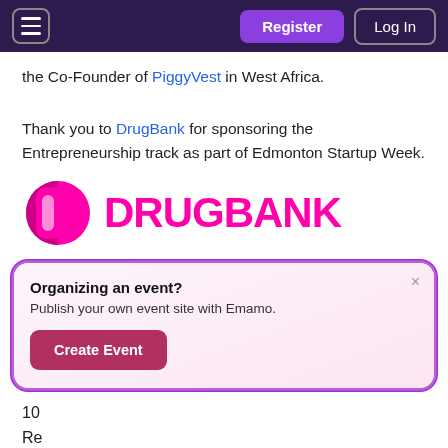Register | Log In
the Co-Founder of PiggyVest in West Africa.
Thank you to DrugBank for sponsoring the Entrepreneurship track as part of Edmonton Startup Week.
[Figure (logo): DrugBank logo in magenta/pink color with pill icon]
Organizing an event? Publish your own event site with Emamo. Create Event
10 Re with Jobs Alberta